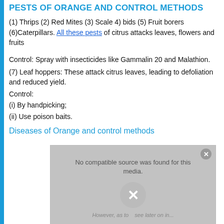PESTS OF ORANGE AND CONTROL METHODS
(1) Thrips (2) Red Mites (3) Scale 4) bids (5) Fruit borers (6)Caterpillars. All these pests of citrus attacks leaves, flowers and fruits
Control: Spray with insecticides like Gammalin 20 and Malathion.
(7) Leaf hoppers: These attack citrus leaves, leading to defoliation and reduced yield.
Control:
(i) By handpicking;
(ii) Use poison baits.
Diseases of Orange and control methods
[Figure (other): Video player overlay showing 'No compatible source was found for this media.' with a close button and X circle, and italic text beneath partially visible.]